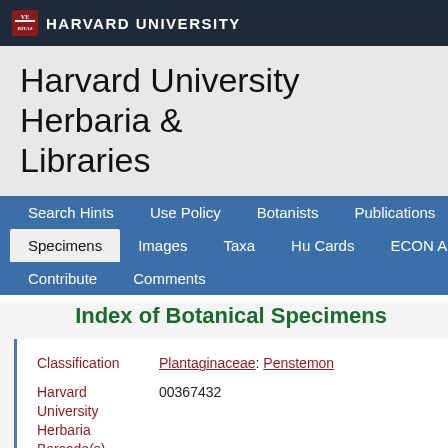HARVARD UNIVERSITY
Harvard University Herbaria & Libraries
Search Hints | Use Policy | Botanists | Publications | Specimens | Images | Taxa | Hu Cards | ECON Artifacts | Contribute | Comments
Index of Botanical Specimens
| Field | Value |
| --- | --- |
| Classification | Plantaginaceae: Penstemon |
| Harvard University Herbaria Barcode(s) | 00367432 |
| Collector | A. M. Alexander & L. Kellogg |
| Collector number | 4080 |
| Country | United States of America |
| State | California |